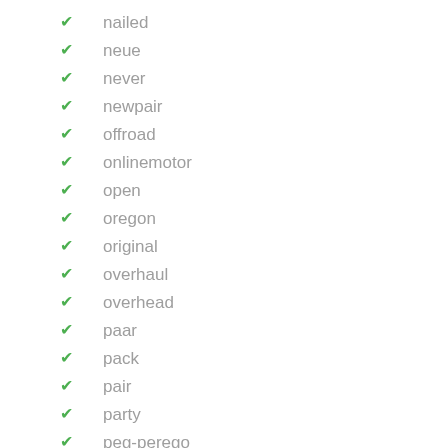nailed
neue
never
newpair
offroad
onlinemotor
open
oregon
original
overhaul
overhead
paar
pack
pair
party
peg-perego
perego
plow